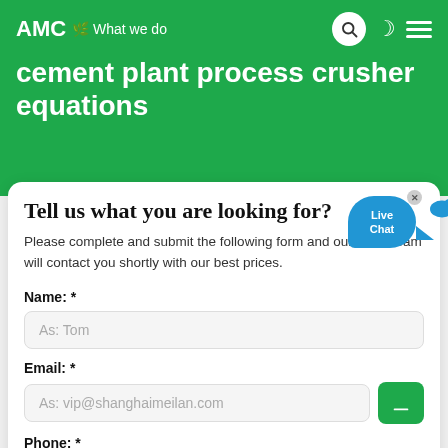AMC – What we do: cement plant process crusher equations
cement plant process crusher equations
Tell us what you are looking for?
Please complete and submit the following form and our sales team will contact you shortly with our best prices.
Name: *
As: Tom
Email: *
As: vip@shanghaimeilan.com
Phone: *
With Country Code